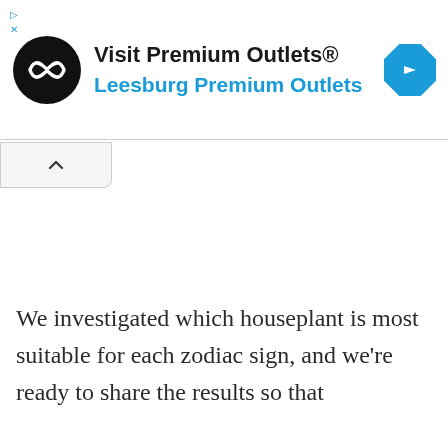[Figure (screenshot): Advertisement banner for Visit Premium Outlets - Leesburg Premium Outlets, with black circular logo with infinity symbol, blue navigation arrow diamond icon, and ad controls (play and close buttons)]
[Figure (screenshot): Collapse/chevron up button below the ad banner]
We investigated which houseplant is most suitable for each zodiac sign, and we're ready to share the results so that